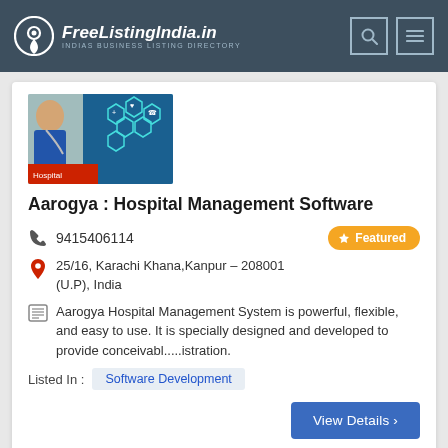FreeListingIndia.in — INDIAS BUSINESS LISTING DIRECTORY
[Figure (photo): Hospital management software promotional image with doctor and medical icons]
Aarogya : Hospital Management Software
9415406114
25/16, Karachi Khana,Kanpur – 208001 (U.P), India
Aarogya Hospital Management System is powerful, flexible, and easy to use. It is specially designed and developed to provide conceivabl.....istration.
Listed In :  Software Development
View Details ›